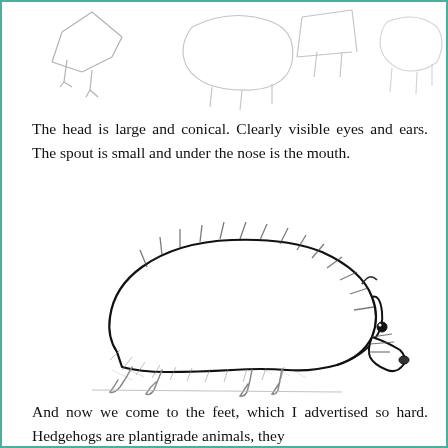[Figure (illustration): Pencil sketches of hedgehog body parts or poses at the top of the page, showing rough outline drawings of a hedgehog from different angles.]
The head is large and conical. Clearly visible eyes and ears. The spout is small and under the nose is the mouth.
[Figure (illustration): A detailed pencil sketch of a full hedgehog in profile view, showing the rounded spiny body on top, the pointed snout, small eye, legs with claws, and hatching marks indicating spines and shadow beneath.]
And now we come to the feet, which I advertised so hard. Hedgehogs are plantigrade animals, they